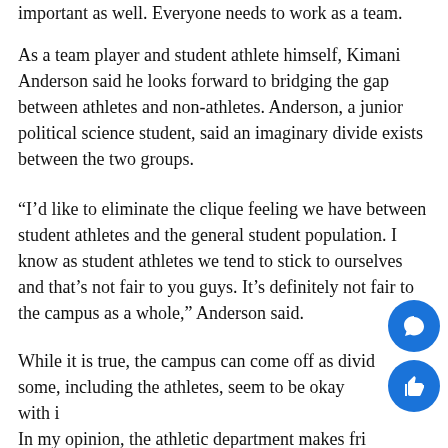important as well. Everyone needs to work as a team.
As a team player and student athlete himself, Kimani Anderson said he looks forward to bridging the gap between athletes and non-athletes. Anderson, a junior political science student, said an imaginary divide exists between the two groups.
“I’d like to eliminate the clique feeling we have between student athletes and the general student population. I know as student athletes we tend to stick to ourselves and that’s not fair to you guys. It’s definitely not fair to the campus as a whole,” Anderson said.
While it is true, the campus can come off as divid… some, including the athletes, seem to be okay with i… In my opinion, the athletic department makes fri… amongst themselves and can come off rude and